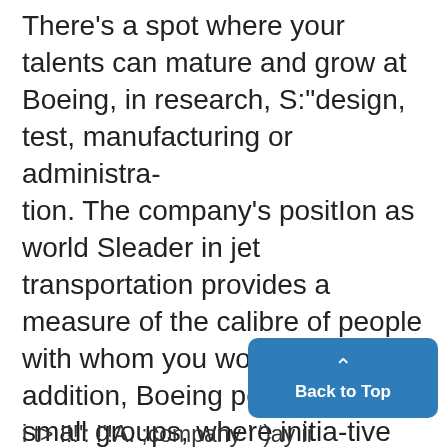There's a spot where your talents can mature and grow at Boeing, in research, S:"design, test, manufacturing or administra-tion. The company's position as world Sleader in jet transportation provides a measure of the calibre of people with whom you would work. In addition, Boeing people work in small groups, where initia-tive and ability get maximum exposure. Boeing encourages participation in the company-paid Graduate Study leading colleges and universitie i t> !!!': !'!A. ;company ’ ‘)ay installations